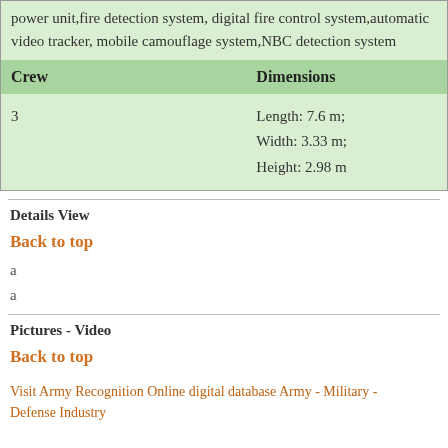| Crew | Dimensions |
| --- | --- |
| 3 | Length: 7.6 m;
Width: 3.33 m;
Height: 2.98 m |
Details View
Back to top
a
a
Pictures - Video
Back to top
Visit Army Recognition Online digital database Army - Military - Defense Industry